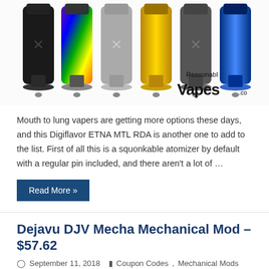[Figure (photo): Row of Digiflavor ETNA MTL RDA atomizers in various colors (black, rainbow, silver, gold, gunmetal, blue) with ReasonablVapes.co watermark logo in bottom right]
Mouth to lung vapers are getting more options these days, and this Digiflavor ETNA MTL RDA is another one to add to the list. First of all this is a squonkable atomizer by default with a regular pin included, and there aren't a lot of …
Read More »
Dejavu DJV Mecha Mechanical Mod – $57.62
September 11, 2018   Coupon Codes, Mechanical Mods   0
[Figure (photo): Bottom portion of Dejavu DJV Mecha Mechanical Mod product images showing two black devices]